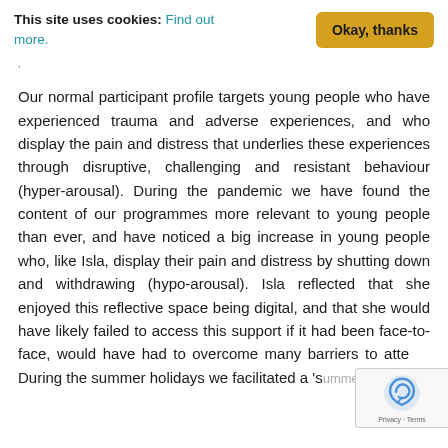This site uses cookies: Find out more.
Okay, thanks
Our normal participant profile targets young people who have experienced trauma and adverse experiences, and who display the pain and distress that underlies these experiences through disruptive, challenging and resistant behaviour (hyper-arousal). During the pandemic we have found the content of our programmes more relevant to young people than ever, and have noticed a big increase in young people who, like Isla, display their pain and distress by shutting down and withdrawing (hypo-arousal). Isla reflected that she enjoyed this reflective space being digital, and that she would have likely failed to access this support if it had been face-to-face, would have had to overcome many barriers to atte... During the summer holidays we facilitated a 'summ...